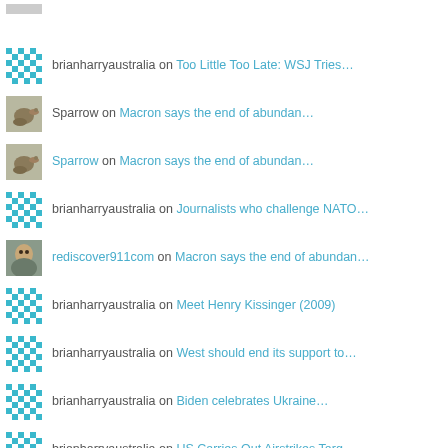brianharryaustralia on Too Little Too Late: WSJ Tries…
Sparrow on Macron says the end of abundan…
Sparrow on Macron says the end of abundan…
brianharryaustralia on Journalists who challenge NATO…
rediscover911com on Macron says the end of abundan…
brianharryaustralia on Meet Henry Kissinger (2009)
brianharryaustralia on West should end its support to…
brianharryaustralia on Biden celebrates Ukraine…
brianharryaustralia on US Carries Out Airstrikes Targ…